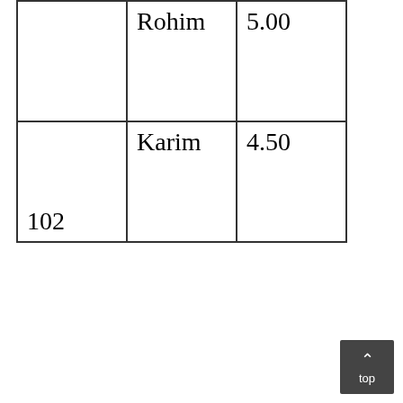|  | Rohim | 5.00 |
| 102 | Karim | 4.50 |